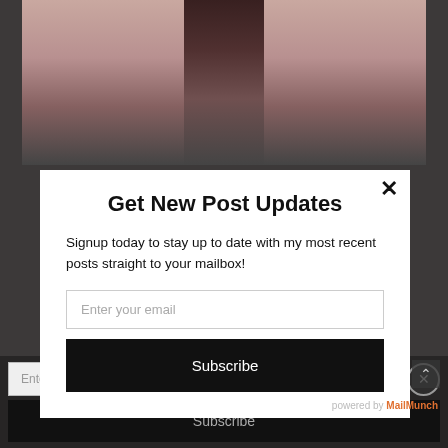[Figure (photo): Background: a person wearing a pink top, partially visible with accessories, in front of a white surface, overlaid with a dark semi-transparent layer and a popup modal.]
Get New Post Updates
Signup today to stay up to date with my most recent posts straight to your mailbox!
Enter your email
Subscribe
powered by MailMunch
Enter your email
Subscribe